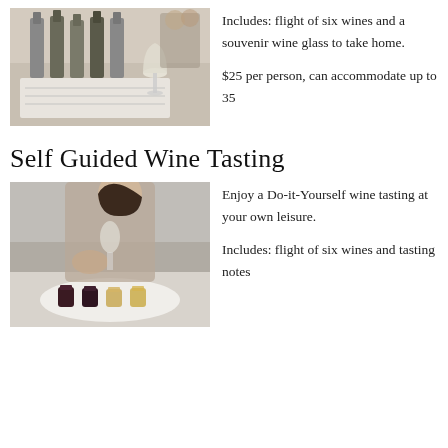[Figure (photo): Photo of wine bottles and a wine glass on a table with tasting notes sheet]
Includes: flight of six wines and a souvenir wine glass to take home.

$25 per person, can accommodate up to 35
Self Guided Wine Tasting
[Figure (photo): Photo of a woman holding a wine glass at a table with small tasting glasses on a white plate]
Enjoy a Do-it-Yourself wine tasting at your own leisure.

Includes: flight of six wines and tasting notes